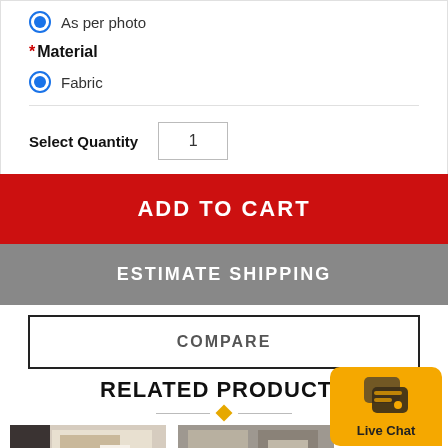As per photo
* Material
Fabric
Select Quantity  1
ADD TO CART
ESTIMATE SHIPPING
COMPARE
RELATED PRODUCTS
[Figure (photo): Product image thumbnail 1 - lamp/furniture item]
[Figure (photo): Product image thumbnail 2 - lamp/furniture item]
[Figure (screenshot): Live Chat button widget with chat icon]